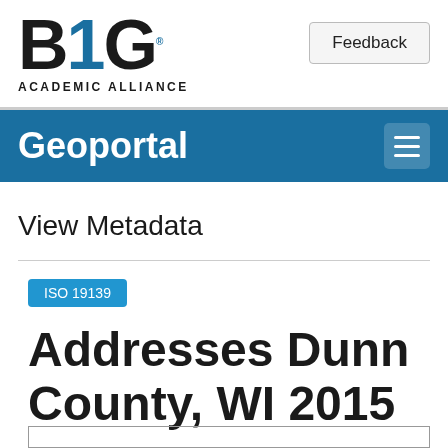BIG ACADEMIC ALLIANCE — Feedback
Geoportal
View Metadata
ISO 19139
Addresses Dunn County, WI 2015